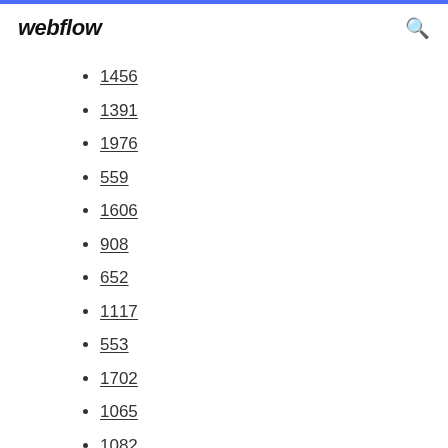webflow
1456
1391
1976
559
1606
908
652
1117
553
1702
1065
1082